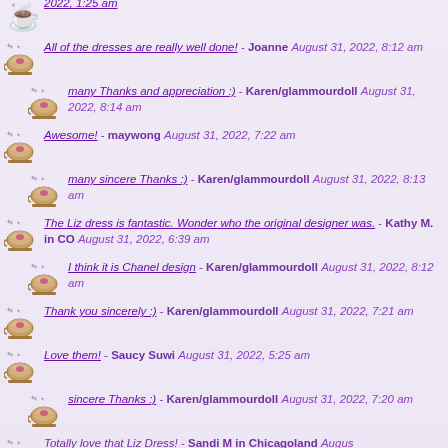All of the dresses are really well done! - Joanne August 31, 2022, 8:12 am
many Thanks and appreciation :) - Karen/glammourdoll August 31, 2022, 8:14 am
Awesome! - maywong August 31, 2022, 7:22 am
many sincere Thanks :) - Karen/glammourdoll August 31, 2022, 8:13 am
The Liz dress is fantastic. Wonder who the original designer was. - Kathy M. in CO August 31, 2022, 6:39 am
I think it is Chanel design - Karen/glammourdoll August 31, 2022, 8:12 am
Thank you sincerely :) - Karen/glammourdoll August 31, 2022, 7:21 am
Love them! - Saucy Suwi August 31, 2022, 5:25 am
sincere Thanks :) - Karen/glammourdoll August 31, 2022, 7:20 am
Totally love that Liz Dress! - Sandi M in Chicagoland August...